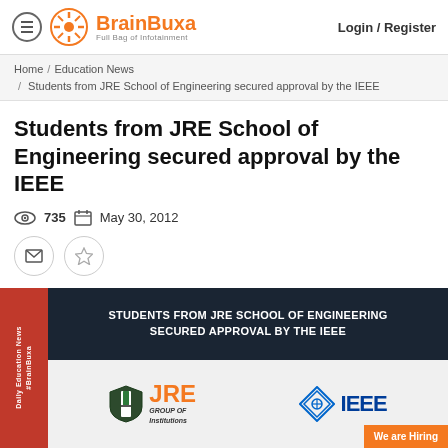[Figure (logo): BrainBuxa logo with hamburger menu and Login/Register link]
Home / Education News / Students from JRE School of Engineering secured approval by the IEEE
Students from JRE School of Engineering secured approval by the IEEE
735  May 30, 2012
[Figure (illustration): Article banner image showing JRE School of Engineering and IEEE logos with text: STUDENTS FROM JRE SCHOOL OF ENGINEERING SECURED APPROVAL BY THE IEEE]